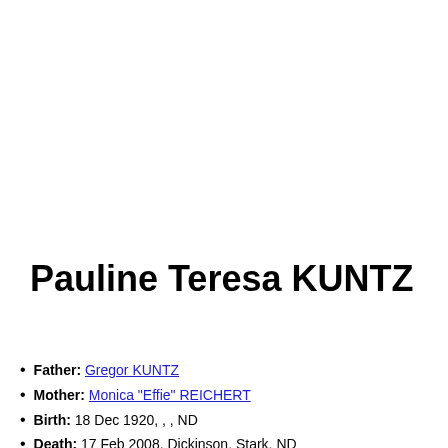Pauline Teresa KUNTZ
Father: Gregor KUNTZ
Mother: Monica "Effie" REICHERT
Birth: 18 Dec 1920, , , ND
Death: 17 Feb 2008, Dickinson, Stark, ND